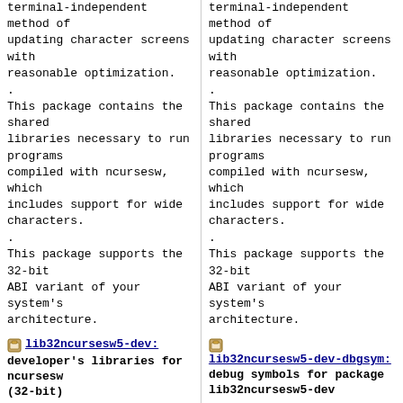terminal-independent method of updating character screens with reasonable optimization.
.
This package contains the shared libraries necessary to run programs compiled with ncursesw, which includes support for wide characters.
.
This package supports the 32-bit ABI variant of your system's architecture.
lib32ncursesw5-dev: developer's libraries for ncursesw (32-bit)
The ncurses library routines are a terminal-independent method of updating character screens with reasonable optimization.
.
This package contains the header files, static libraries and symbolic links that developers
terminal-independent method of updating character screens with reasonable optimization.
.
This package contains the shared libraries necessary to run programs compiled with ncursesw, which includes support for wide characters.
.
This package supports the 32-bit ABI variant of your system's architecture.
lib32ncursesw5-dev-dbgsym: debug symbols for package lib32ncursesw5-dev
The ncurses library routines are a terminal-independent method of updating character screens with reasonable optimization.
.
This package contains the header files, static libraries and symbolic links that developers